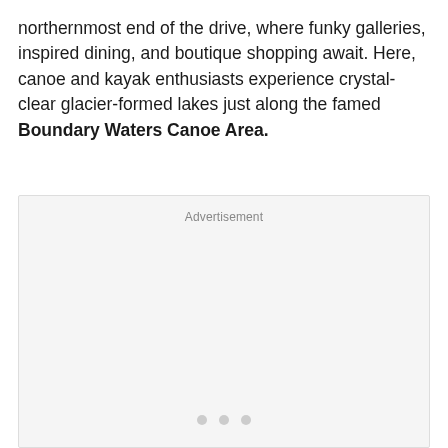northernmost end of the drive, where funky galleries, inspired dining, and boutique shopping await. Here, canoe and kayak enthusiasts experience crystal-clear glacier-formed lakes just along the famed Boundary Waters Canoe Area.
[Figure (other): Advertisement placeholder box with 'Advertisement' label at top and three dots at the bottom center]